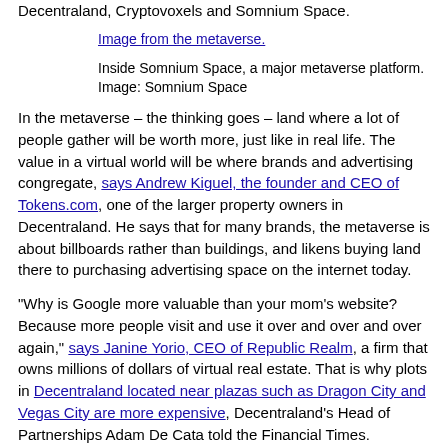Decentraland, Cryptovoxels and Somnium Space.
[Figure (photo): Image from the metaverse (linked image placeholder)]
Inside Somnium Space, a major metaverse platform.
Image: Somnium Space
In the metaverse – the thinking goes – land where a lot of people gather will be worth more, just like in real life. The value in a virtual world will be where brands and advertising congregate, says Andrew Kiguel, the founder and CEO of Tokens.com, one of the larger property owners in Decentraland. He says that for many brands, the metaverse is about billboards rather than buildings, and likens buying land there to purchasing advertising space on the internet today.
“Why is Google more valuable than your mom’s website? Because more people visit and use it over and over and over again,” says Janine Yorio, CEO of Republic Realm, a firm that owns millions of dollars of virtual real estate. That is why plots in Decentraland located near plazas such as Dragon City and Vegas City are more expensive, Decentraland’s Head of Partnerships Adam De Cata told the Financial Times.
So who already owns land in the metaverse?